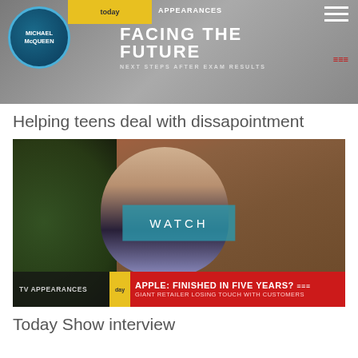[Figure (screenshot): TV show header banner showing 'FACING THE FUTURE - NEXT STEPS AFTER EXAM RESULTS' with Michael McQueen logo and network branding]
Helping teens deal with dissapointment
[Figure (screenshot): Video thumbnail of a bald man with glasses in a TV interview setting, with 'WATCH' button overlay and lower bar reading 'TV APPEARANCES' and 'APPLE: FINISHED IN FIVE YEARS? - GIANT RETAILER LOSING TOUCH WITH CUSTOMERS']
Today Show interview